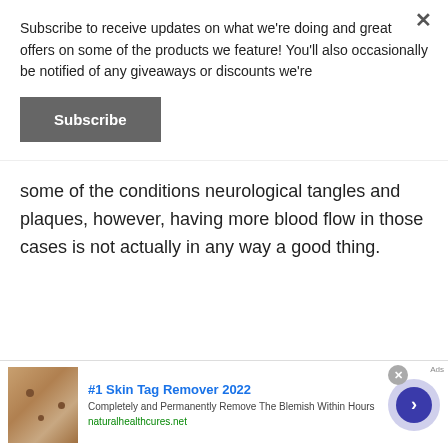Subscribe to receive updates on what we're doing and great offers on some of the products we feature! You'll also occasionally be notified of any giveaways or discounts we're
Subscribe
some of the conditions neurological tangles and plaques, however, having more blood flow in those cases is not actually in any way a good thing.
[Figure (infographic): Infolinks advertisement banner with cyan background, puzzle pieces, and black circle]
[Figure (infographic): Advertisement for #1 Skin Tag Remover 2022 with skin photo thumbnail, text description, and navigation arrow]